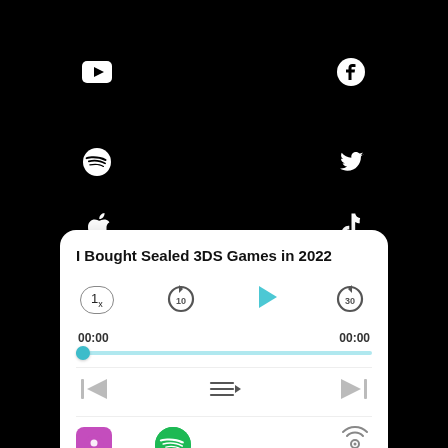[Figure (screenshot): Social media icons grid on black background: YouTube, Facebook, Spotify, Twitter, Apple, TikTok]
[Figure (screenshot): Podcast player card showing episode 'I Bought Sealed 3DS Games in 2022' with playback controls, progress bar at 00:00, speed control 1x, skip 10 back and 30 forward, playlist, previous and next buttons, and platform icons for Apple Podcasts, Spotify, and a broadcast icon]